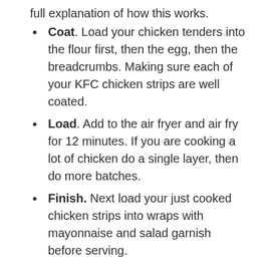full explanation of how this works.
Coat. Load your chicken tenders into the flour first, then the egg, then the breadcrumbs. Making sure each of your KFC chicken strips are well coated.
Load. Add to the air fryer and air fry for 12 minutes. If you are cooking a lot of chicken do a single layer, then do more batches.
Finish. Next load your just cooked chicken strips into wraps with mayonnaise and salad garnish before serving.
KFC Twister Sauce
What I love to do when the chicken strips are cooking in the air fryer, is to make a delicious KFC